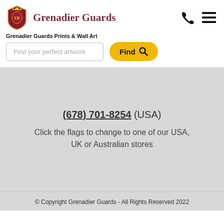[Figure (logo): Grenadier Guards badge/crest logo in red and gold with crown]
Grenadier Guards
Grenadier Guards Prints & Wall Art
Find your perfect artwork
(678) 701-8254 (USA)
Click the flags to change to one of our USA, UK or Australian stores
© Copyright Grenadier Guards - All Rights Reserved 2022